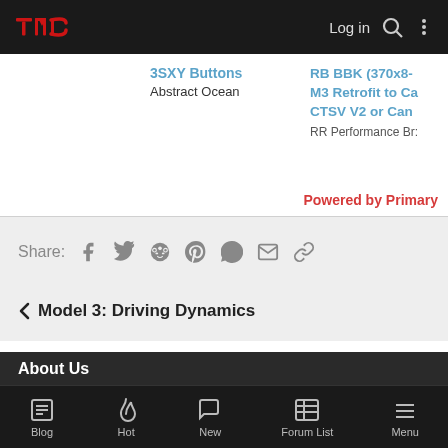TMC / Log in
3SXY Buttons — Abstract Ocean
RB BBK (370x8- M3 Retrofit to Ca CTSV V2 or Can — RR Performance Br:
Powered by Primary
Share:
< Model 3: Driving Dynamics
About Us
Blog  Hot  New  Forum List  Menu